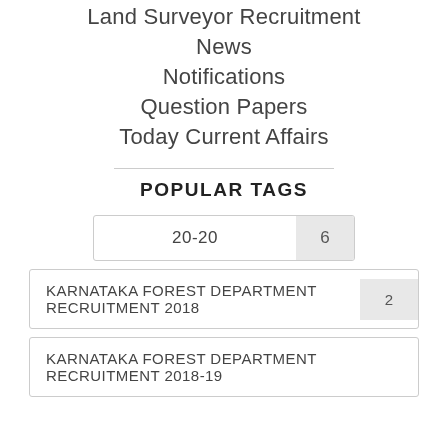Land Surveyor Recruitment
News
Notifications
Question Papers
Today Current Affairs
POPULAR TAGS
20-20  6
KARNATAKA FOREST DEPARTMENT RECRUITMENT 2018  2
KARNATAKA FOREST DEPARTMENT RECRUITMENT 2018-19